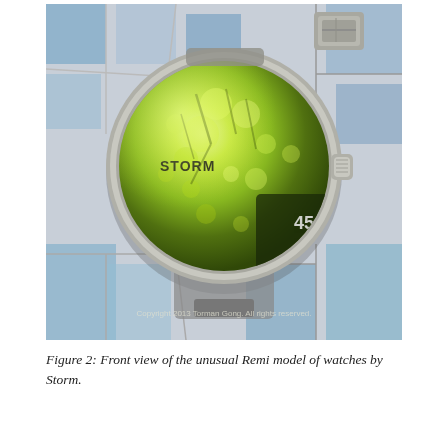[Figure (photo): Front view of a Storm Remi watch with a large circular mirror/reflective face showing green tree reflections. The watch face displays the brand name 'STORM' and shows time numerals 45 and 40. The watch has a stainless steel case with a crown on the right side. The background appears to be a tiled surface with blue and white pattern. A copyright watermark reads 'Copyright 2013 Torman Gong. All rights reserved.']
Figure 2: Front view of the unusual Remi model of watches by Storm.